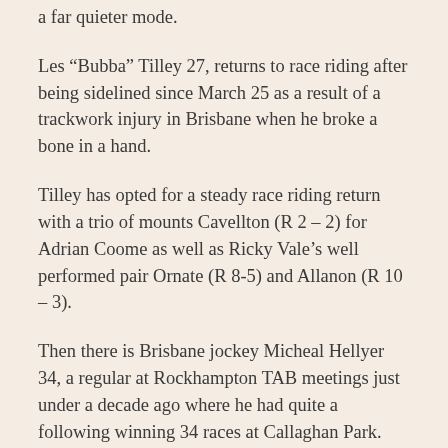a far quieter mode.
Les “Bubba” Tilley 27, returns to race riding after being sidelined since March 25 as a result of a trackwork injury in Brisbane when he broke a bone in a hand.
Tilley has opted for a steady race riding return with a trio of mounts Cavellton (R 2 – 2) for Adrian Coome as well as Ricky Vale’s well performed pair Ornate (R 8-5) and Allanon (R 10 – 3).
Then there is Brisbane jockey Micheal Hellyer 34, a regular at Rockhampton TAB meetings just under a decade ago where he had quite a following winning 34 races at Callaghan Park.
At Thursday’s marathon card Hellyer, a winner of 708 races overall will be as highly active race riding as Stanley contesting no few than nine races with winning chances galore.
Not forgetting of course possibly the most naturally talented of the 17 hoops riding on Thursday is Barcaldine based Ric McMahon who makes the 580km